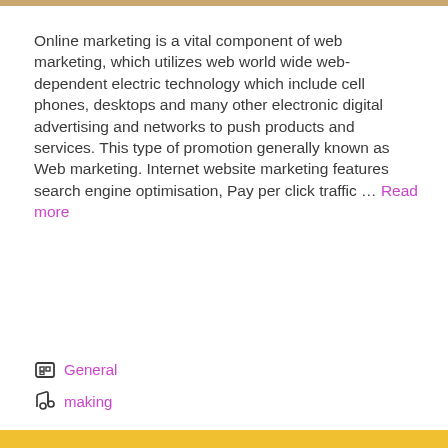Online marketing is a vital component of web marketing, which utilizes web world wide web-dependent electric technology which include cell phones, desktops and many other electronic digital advertising and networks to push products and services. This type of promotion generally known as Web marketing. Internet website marketing features search engine optimisation, Pay per click traffic ... Read more
General
making